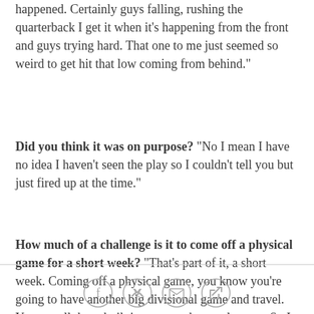happened. Certainly guys falling, rushing the quarterback I get it when it's happening from the front and guys trying hard. That one to me just seemed so weird to get hit that low coming from behind."
Did you think it was on purpose? "No I mean I have no idea I haven't seen the play so I couldn't tell you but just fired up at the time."
How much of a challenge is it to come off a physical game for a short week? "That's part of it, a short week. Coming off a physical game, you know you're going to have another big divisional game and travel. You got all those built in excuses there to lean on. So I think the positive is we get a short week to bounce back, get this taste out of our mouth. There is a positive from it."
[Figure (other): Social sharing icons: Facebook, Twitter, Email, Link/copy]